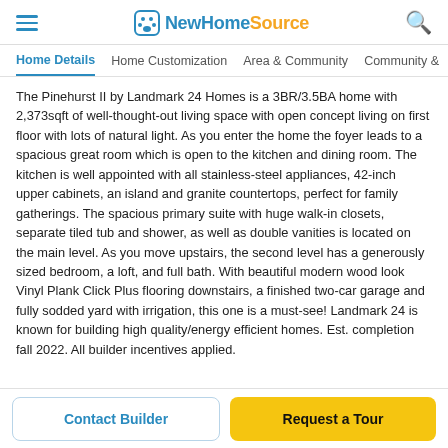NewHomeSource
Home Details | Home Customization | Area & Community | Community &
The Pinehurst II by Landmark 24 Homes is a 3BR/3.5BA home with 2,373sqft of well-thought-out living space with open concept living on first floor with lots of natural light. As you enter the home the foyer leads to a spacious great room which is open to the kitchen and dining room. The kitchen is well appointed with all stainless-steel appliances, 42-inch upper cabinets, an island and granite countertops, perfect for family gatherings. The spacious primary suite with huge walk-in closets, separate tiled tub and shower, as well as double vanities is located on the main level. As you move upstairs, the second level has a generously sized bedroom, a loft, and full bath. With beautiful modern wood look Vinyl Plank Click Plus flooring downstairs, a finished two-car garage and fully sodded yard with irrigation, this one is a must-see! Landmark 24 is known for building high quality/energy efficient homes. Est. completion fall 2022. All builder incentives applied.
Contact Builder
Request a Tour